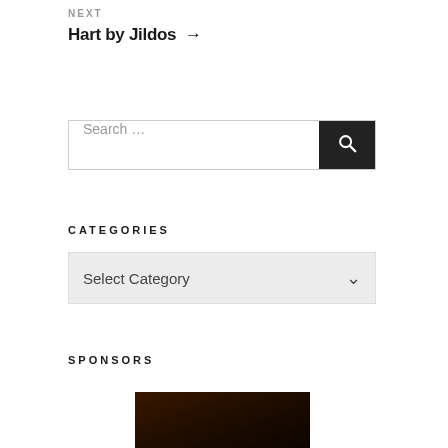NEXT
Hart by Jildos →
Search …
CATEGORIES
Select Category
SPONSORS
[Figure (photo): Dark photo of a person, partially visible at the bottom of the page, serving as a sponsor image.]